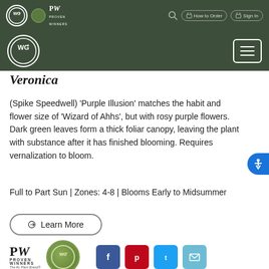[Figure (screenshot): Website navigation bar with WG+ and Proven Winners logos, search icon, How to Order and Sign In buttons on dark green background]
[Figure (screenshot): Second navigation bar with WG+ circular logo and hamburger menu button on dark green background]
Veronica
(Spike Speedwell) 'Purple Illusion' matches the habit and flower size of 'Wizard of Ahhs', but with rosy purple flowers. Dark green leaves form a thick foliar canopy, leaving the plant with substance after it has finished blooming. Requires vernalization to bloom.
Full to Part Sun | Zones: 4-8 | Blooms Early to Midsummer
Learn More
[Figure (logo): Proven Winners logo and WG+ circular seal]
[Figure (logo): Social sharing buttons: Facebook, Pinterest, Twitter, Email]